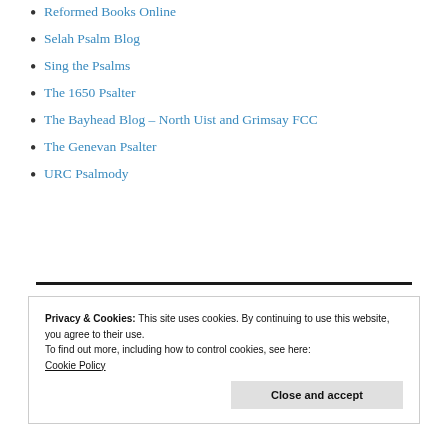Reformed Books Online
Selah Psalm Blog
Sing the Psalms
The 1650 Psalter
The Bayhead Blog – North Uist and Grimsay FCC
The Genevan Psalter
URC Psalmody
Privacy & Cookies: This site uses cookies. By continuing to use this website, you agree to their use.
To find out more, including how to control cookies, see here:
Cookie Policy
Close and accept